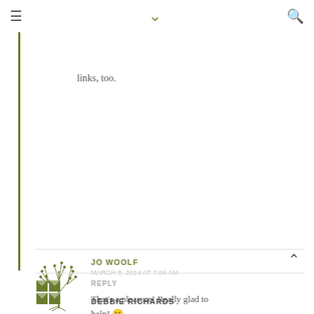≡ ∨ 🔍
links, too.
JO WOOLF
MARCH 8, 2014 AT 7:06 AM
REPLY
That's a pleasure! Really glad to help! 🙂
DEBBIE RICHARDS